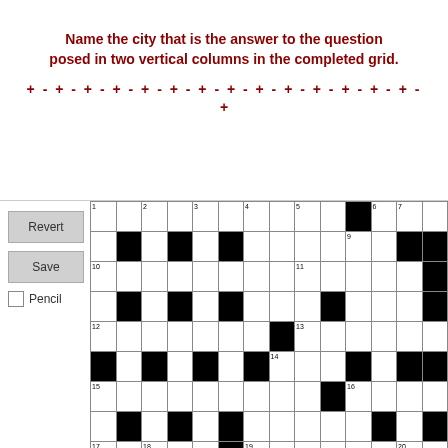Name the city that is the answer to the question posed in two vertical columns in the completed grid.
[Figure (other): Decorative divider line of alternating + and - symbols in dark red]
[Figure (other): Crossword puzzle grid with numbered cells and black squares, with Revert, Save buttons and Pencil checkbox on left panel]